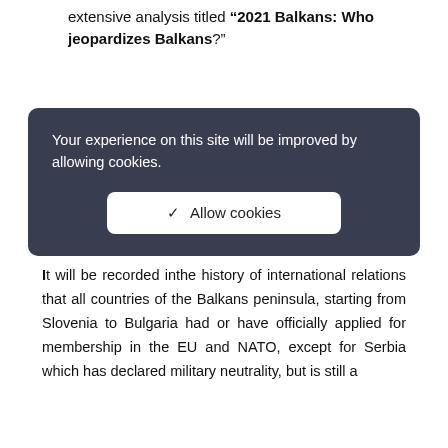extensive analysis titled “2021 Balkans: Who jeopardizes Balkans?”
Your experience on this site will be improved by allowing cookies.
✓  Allow cookies
It will be recorded inthe history of international relations that all countries of the Balkans peninsula, starting from Slovenia to Bulgaria had or have officially applied for membership in the EU and NATO, except for Serbia which has declared military neutrality, but is still a